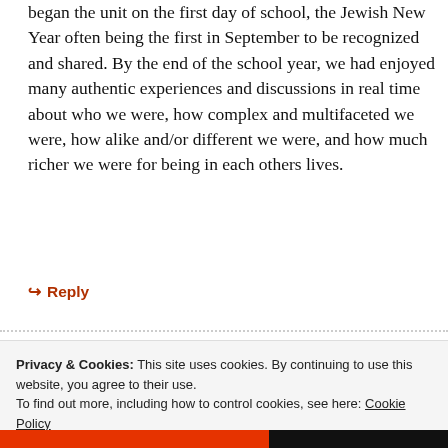began the unit on the first day of school, the Jewish New Year often being the first in September to be recognized and shared. By the end of the school year, we had enjoyed many authentic experiences and discussions in real time about who we were, how complex and multifaceted we were, how alike and/or different we were, and how much richer we were for being in each others lives.
Reply
Privacy & Cookies: This site uses cookies. By continuing to use this website, you agree to their use. To find out more, including how to control cookies, see here: Cookie Policy
Close and accept